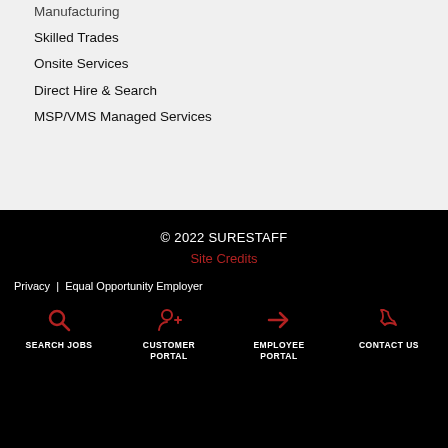Manufacturing
Skilled Trades
Onsite Services
Direct Hire & Search
MSP/VMS Managed Services
© 2022 SURESTAFF
Site Credits
Privacy  |  Equal Opportunity Employer
SEARCH JOBS
CUSTOMER PORTAL
EMPLOYEE PORTAL
CONTACT US